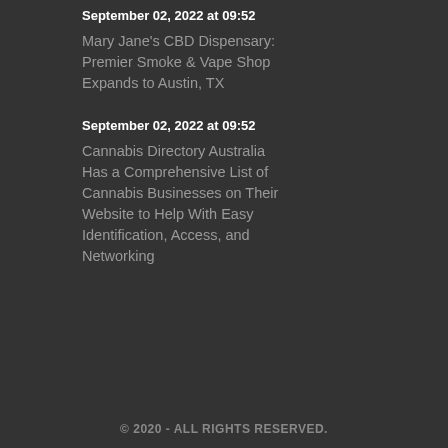September 02, 2022 at 09:52
Mary Jane's CBD Dispensary: Premier Smoke & Vape Shop Expands to Austin, TX
September 02, 2022 at 09:52
Cannabis Directory Australia Has a Comprehensive List of Cannabis Businesses on Their Website to Help With Easy Identification, Access, and Networking
© 2020 - ALL RIGHTS RESERVED.